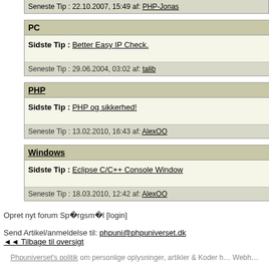Seneste Tip : 22.10.2007, 15:49 af: PHP-Jonas
PC
Sidste Tip : Better Easy IP Check.
Seneste Tip : 29.06.2004, 03:02 af: talib
PHP
Sidste Tip : PHP og sikkerhed!
Seneste Tip : 13.02.2010, 16:43 af: AlexOO
Windows
Sidste Tip : Eclipse C/C++ Console Window
Seneste Tip : 18.03.2010, 12:42 af: AlexOO
Opret nyt forum Spørgsmål [login]
Send Artikel/anmeldelse til: phpuni@phpuniverset.dk
◄◄ Tilbage til oversigt
Phpuniverset's politik om personlige oplysninger, artikler & Koder … Webh…